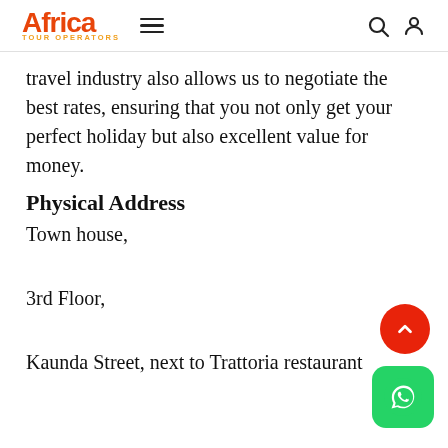Africa Tour Operators
travel industry also allows us to negotiate the best rates, ensuring that you not only get your perfect holiday but also excellent value for money.
Physical Address
Town house,
3rd Floor,
Kaunda Street, next to Trattoria restaurant